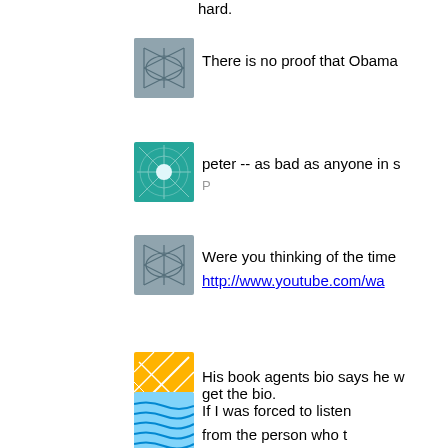hard.
[Figure (illustration): Avatar icon: grey network/web pattern on blue-grey background]
There is no proof that Obama
[Figure (illustration): Avatar icon: teal/green radial web pattern on teal background]
peter -- as bad as anyone in s
P
[Figure (illustration): Avatar icon: grey network/web pattern on blue-grey background]
Were you thinking of the time
http://www.youtube.com/wa
[Figure (illustration): Avatar icon: orange/yellow diagonal lines pattern on orange background]
His book agents bio says he w get the bio.
[Figure (illustration): Avatar icon: blue wavy lines pattern on light blue background]
If I was forced to listen
from the person who t